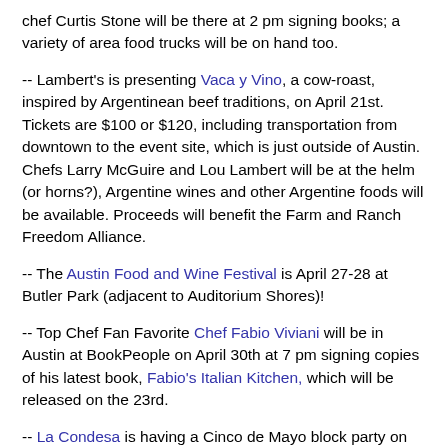chef Curtis Stone will be there at 2 pm signing books; a variety of area food trucks will be on hand too.
-- Lambert's is presenting Vaca y Vino, a cow-roast, inspired by Argentinean beef traditions, on April 21st. Tickets are $100 or $120, including transportation from downtown to the event site, which is just outside of Austin. Chefs Larry McGuire and Lou Lambert will be at the helm (or horns?), Argentine wines and other Argentine foods will be available. Proceeds will benefit the Farm and Ranch Freedom Alliance.
-- The Austin Food and Wine Festival is April 27-28 at Butler Park (adjacent to Auditorium Shores)!
-- Top Chef Fan Favorite Chef Fabio Viviani will be in Austin at BookPeople on April 30th at 7 pm signing copies of his latest book, Fabio's Italian Kitchen, which will be released on the 23rd.
-- La Condesa is having a Cinco de Mayo block party on May 5th from 1 - 9 pm, with free food, music and entertainment.